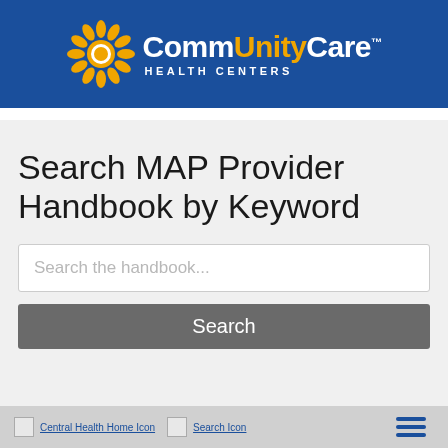[Figure (logo): CommUnityCare Health Centers logo with orange sunburst icon and text on blue background banner]
Search MAP Provider Handbook by Keyword
Search the handbook...
Search
Central Health Home Icon  Search Icon  [hamburger menu]